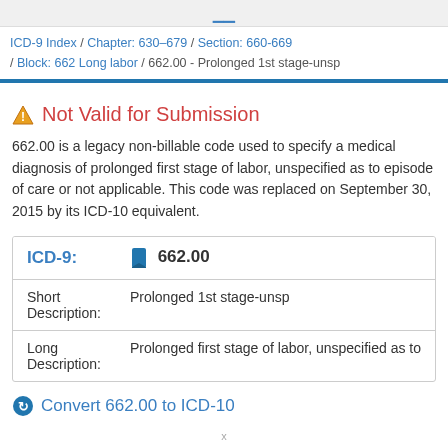ICD-9 Index / Chapter: 630–679 / Section: 660-669 / Block: 662 Long labor / 662.00 - Prolonged 1st stage-unsp
Not Valid for Submission
662.00 is a legacy non-billable code used to specify a medical diagnosis of prolonged first stage of labor, unspecified as to episode of care or not applicable. This code was replaced on September 30, 2015 by its ICD-10 equivalent.
| Field | Value |
| --- | --- |
| ICD-9: | 662.00 |
| Short Description: | Prolonged 1st stage-unsp |
| Long Description: | Prolonged first stage of labor, unspecified as to |
Convert 662.00 to ICD-10